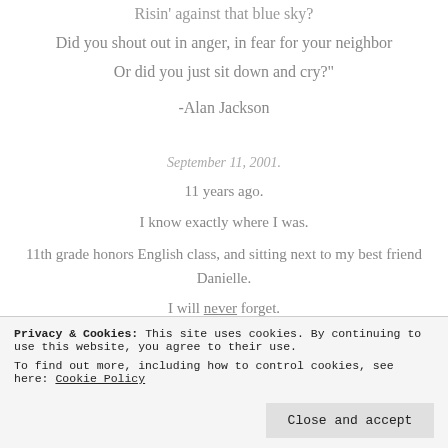Risin' against that blue sky?
Did you shout out in anger, in fear for your neighbor
Or did you just sit down and cry?"
-Alan Jackson
September 11, 2001.
11 years ago.
I know exactly where I was.
11th grade honors English class, and sitting next to my best friend Danielle.
I will never forget.
I even remember what I was wearing.
Jeans and a short sleeve dark blue & light blue striped shirt.
Privacy & Cookies: This site uses cookies. By continuing to use this website, you agree to their use. To find out more, including how to control cookies, see here: Cookie Policy
We all gathered around and just sat there.